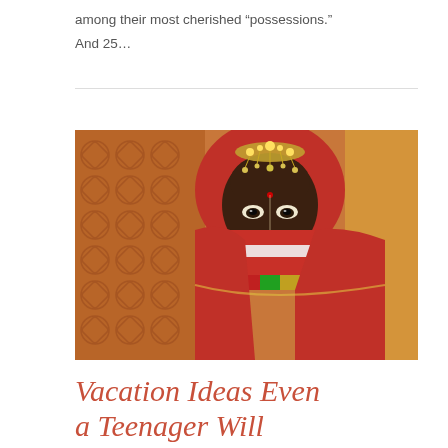among their most cherished “possessions.” And 25…
[Figure (photo): Portrait of a woman in traditional Indian attire — red sari and veil covering the lower face, ornate silver jewelry on forehead and head, standing in front of an orange carved lattice background.]
Vacation Ideas Even a Teenager Will